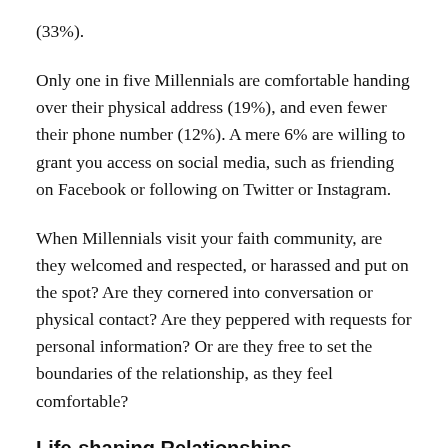(33%).
Only one in five Millennials are comfortable handing over their physical address (19%), and even fewer their phone number (12%). A mere 6% are willing to grant you access on social media, such as friending on Facebook or following on Twitter or Instagram.
When Millennials visit your faith community, are they welcomed and respected, or harassed and put on the spot? Are they cornered into conversation or physical contact? Are they peppered with requests for personal information? Or are they free to set the boundaries of the relationship, as they feel comfortable?
Life-shaping Relationships
If Jesus' discipling style is any indication, consistent